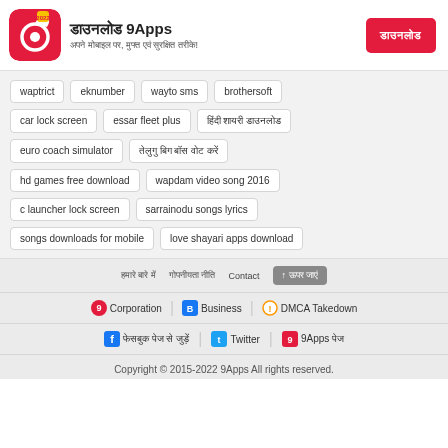डाउनलोड 9Apps
अपने मोबाइल पर, मुफ्त एवं सुरक्षित तरीके!
waptrict
eknumber
wayto sms
brothersoft
car lock screen
essar fleet plus
हिंदी शायरी डाउनलोड
euro coach simulator
तेलुगु बिग बॉस वोट करें
hd games free download
wapdam video song 2016
c launcher lock screen
sarrainodu songs lyrics
songs downloads for mobile
love shayari apps download
हमारे बारे में | गोपनीयता नीति | Contact | ↑ ऊपर जाएं
Corporation | Business | DMCA Takedown
फेसबुक पेज से जुड़ें | Twitter | 9Apps पेज
Copyright © 2015-2022 9Apps All rights reserved.